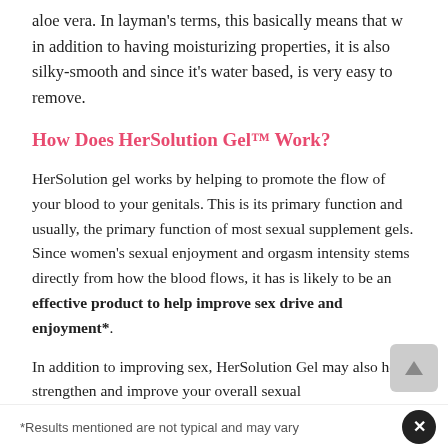aloe vera. In layman's terms, this basically means that w in addition to having moisturizing properties, it is also silky-smooth and since it's water based, is very easy to remove.
How Does HerSolution Gel™ Work?
HerSolution gel works by helping to promote the flow of your blood to your genitals. This is its primary function and usually, the primary function of most sexual supplement gels. Since women's sexual enjoyment and orgasm intensity stems directly from how the blood flows, it has is likely to be an effective product to help improve sex drive and enjoyment*.
In addition to improving sex, HerSolution Gel may also help strengthen and improve your overall sexual
*Results mentioned are not typical and may vary